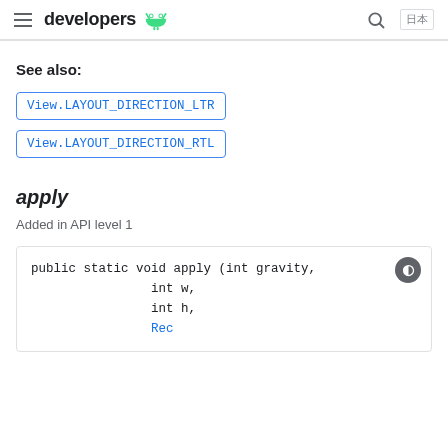developers
See also:
View.LAYOUT_DIRECTION_LTR
View.LAYOUT_DIRECTION_RTL
apply
Added in API level 1
public static void apply (int gravity,
                int w,
                int h,
                Rect...